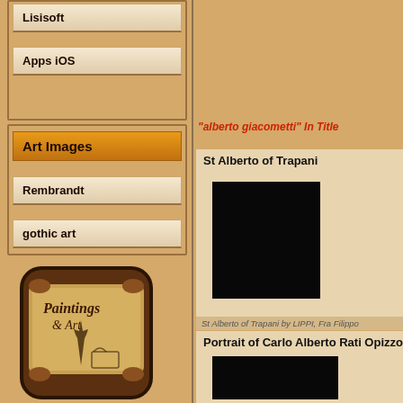Lisisoft
Apps iOS
Art Images
Rembrandt
gothic art
[Figure (illustration): Paintings & Art app icon — scroll/parchment with Eiffel Tower and Colosseum illustration, dark brown rounded square]
[Figure (illustration): Google Play store badge — Android App on Google Play]
"alberto giacometti" In Title
St Alberto of Trapani
[Figure (photo): Black image placeholder for St Alberto of Trapani painting]
St Alberto of Trapani by LIPPI, Fra Filippo
Portrait of Carlo Alberto Rati Opizzoni in
[Figure (photo): Black image placeholder for Portrait of Carlo Alberto Rati Opizzoni]